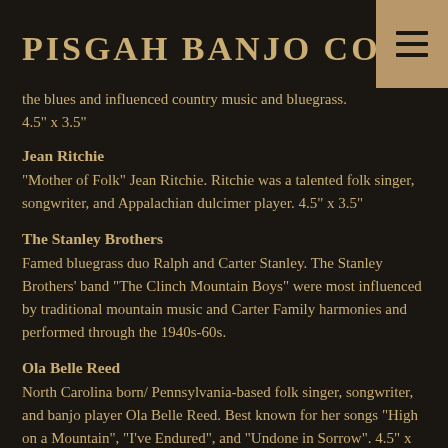PISGAH BANJO Co
the blues and influenced country music and bluegrass. 4.5" x 3.5"
Jean Ritchie
“Mother of Folk” Jean Ritchie. Ritchie was a talented folk singer, songwriter, and Appalachian dulcimer player. 4.5" x 3.5"
The Stanley Brothers
Famed bluegrass duo Ralph and Carter Stanley. The Stanley Brothers’ band “The Clinch Mountain Boys” were most influenced by traditional mountain music and Carter Family harmonies and performed through the 1940s-60s.
Ola Belle Reed
North Carolina born/ Pennsylvania-based folk singer, songwriter, and banjo player Ola Belle Reed. Best known for her songs “High on a Mountain”, “I’ve Endured”, and “Undone in Sorrow”.  4.5" x 3.5"
OTAF
Show everyone that you are Old Time AF with this one of